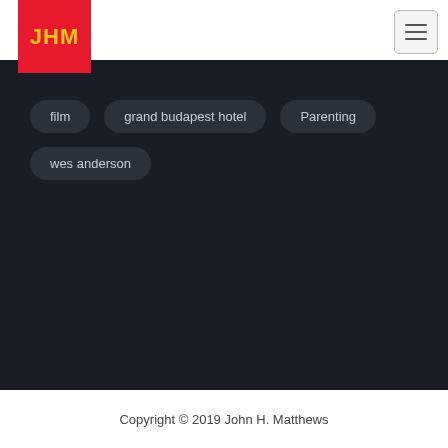[Figure (logo): JHM logo — red square with yellow bold text 'JHM']
film
grand budapest hotel
Parenting
wes anderson
Copyright © 2019 John H. Matthews